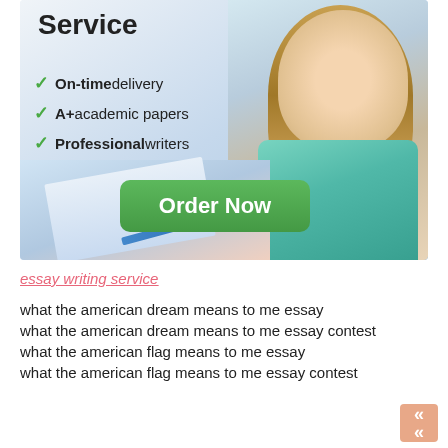[Figure (infographic): Essay writing service advertisement banner with student photo, checklist of features (On-time delivery, A+ academic papers, Professional writers), and green Order Now button]
essay writing service
what the american dream means to me essay
what the american dream means to me essay contest
what the american flag means to me essay
what the american flag means to me essay contest